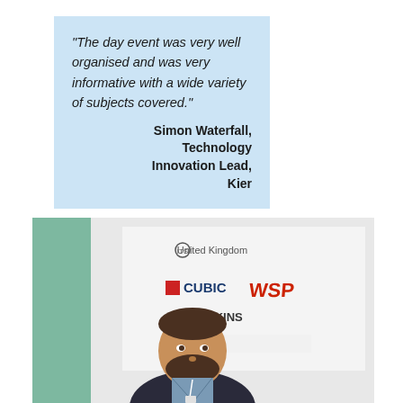"The day event was very well organised and was very informative with a wide variety of subjects covered."

Simon Waterfall, Technology Innovation Lead, Kier
[Figure (photo): A bearded man in a checked shirt and dark blazer standing in front of a banner displaying sponsor logos including United Kingdom, CUBIC, WSP, and ATKINS.]